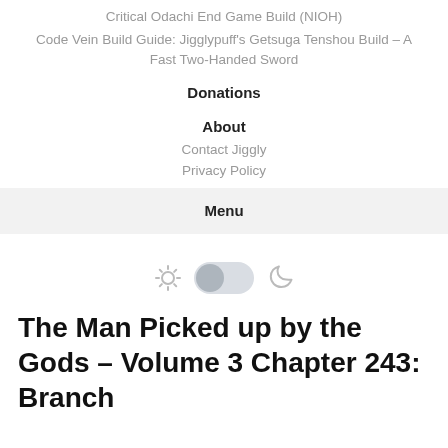Critical Odachi End Game Build (NIOH)
Code Vein Build Guide: Jigglypuff’s Getsuga Tenshou Build – A Fast Two-Handed Sword
Donations
About
Contact Jiggly
Privacy Policy
Menu
[Figure (other): Light/dark mode toggle switch with sun icon on the left and moon icon on the right]
The Man Picked up by the Gods – Volume 3 Chapter 243: Branch